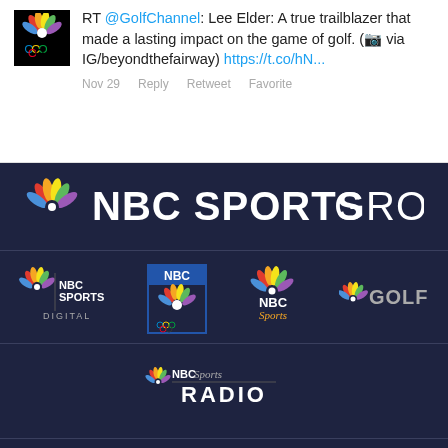[Figure (screenshot): Tweet screenshot showing NBC Olympics logo and tweet text: RT @GolfChannel: Lee Elder: A true trailblazer that made a lasting impact on the game of golf. (📷 via IG/beyondthefairway) https://t.co/hN... with Nov 29 Reply Retweet Favorite actions]
[Figure (logo): NBC Sports Group logo with peacock icon on dark navy background]
[Figure (logo): Row of logos: NBC Sports Digital, NBC Olympics, NBC Sports, Golf Channel on dark navy background]
[Figure (logo): NBC Sports Radio logo on dark navy background]
©2022 NBC Universal. All rights reserved. Any use, reproduction, modification, distribution, display or performance of this material